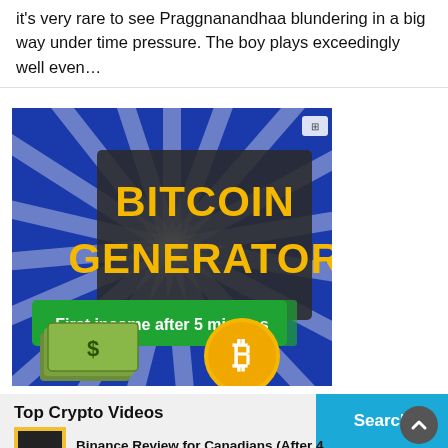it's very rare to see Praggnanandhaa blundering in a big way under time pressure. The boy plays exceedingly well even…
[Figure (infographic): Bitcoin Generator advertisement banner with blue sunburst background, yellow bold text 'BITCOIN GENERATOR', green banner 'First income after 5 minutes', stack of dollar bills on left, Bitcoin coin on right]
[Figure (screenshot): Search bar with blue 'Search' button on right, light gray background]
Top Crypto Videos
Binance Review for Canadians (After 4…